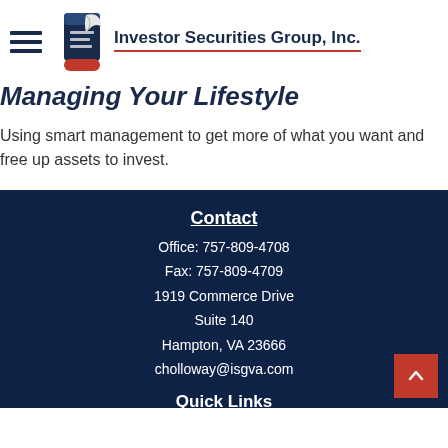Investor Securities Group, Inc.
Managing Your Lifestyle
Using smart management to get more of what you want and free up assets to invest.
Contact
Office: 757-809-4708
Fax: 757-809-4709
1919 Commerce Drive
Suite 140
Hampton, VA 23666
cholloway@isgva.com
Quick Links
Retirement
Investment